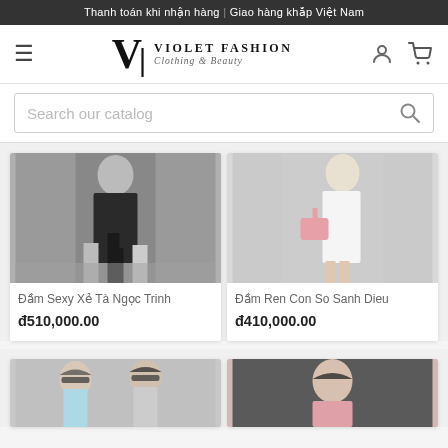Thanh toán khi nhận hàng  |  Giao hàng khắp Việt Nam
[Figure (logo): Violet Fashion logo with hamburger menu, brand name 'VIOLET FASHION Clothing & Beauty', user icon, and cart icon]
Search our catalog
[Figure (photo): Woman wearing a black slit dress (Đầm Sexy Xẻ Tà Ngọc Trinh) walking outdoors]
Đầm Sexy Xẻ Tà Ngọc Trinh
đ510,000.00
[Figure (photo): Woman wearing a white lace dress (Đầm Ren Con So Sanh Dieu) holding a pink bag outdoors]
Đầm Ren Con So Sanh Dieu
đ410,000.00
[Figure (photo): Partial product image showing two women with sunglasses]
[Figure (photo): Partial product image showing a woman in a pink top]